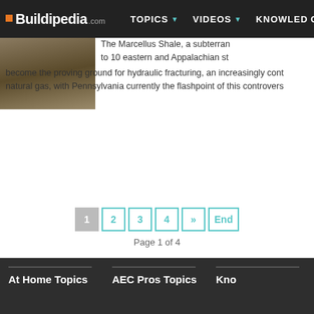Buildipedia.com | TOPICS | VIDEOS | KNOWLEDGE
[Figure (photo): Photograph showing people or workers outdoors, likely at a natural gas or drilling site]
The Marcellus Shale, a subterranean formation extending to 10 eastern and Appalachian states, has become the proving ground for hydraulic fracturing, an increasingly controversial method of extracting natural gas, with Pennsylvania currently the flashpoint of this controversy.
Page 1 of 4
At Home Topics
AEC Pros Topics
Kno